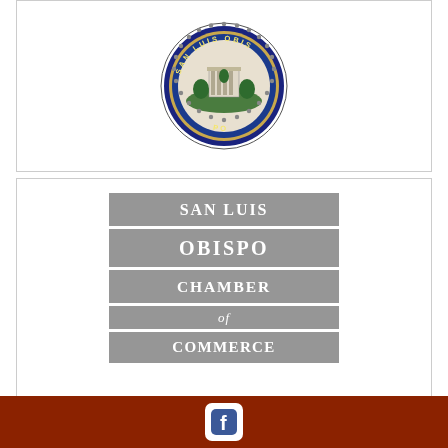[Figure (logo): San Luis Obispo city seal — circular badge with blue border reading 'SAN LUIS OBIS' around top and bottom, gold inner ring, central building/tree scene, decorative scalloped edge]
[Figure (logo): San Luis Obispo Chamber of Commerce logo — four stacked grey rectangular bars reading SAN LUIS / OBISPO / CHAMBER / of / COMMERCE in white serif letters]